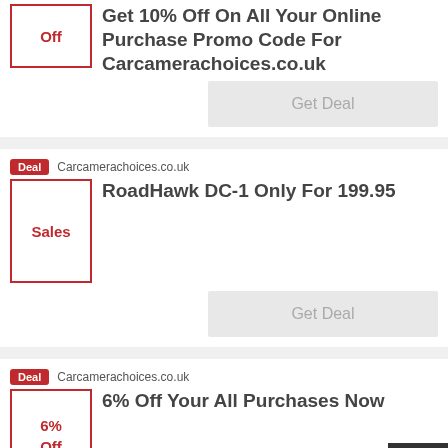Off
Get 10% Off On All Your Online Purchase Promo Code For Carcamerachoices.co.uk
Get Deal
Deal  Carcamerachoices.co.uk
Sales
RoadHawk DC-1 Only For 199.95
Get Deal
Deal  Carcamerachoices.co.uk
6% Off
6% Off Your All Purchases Now